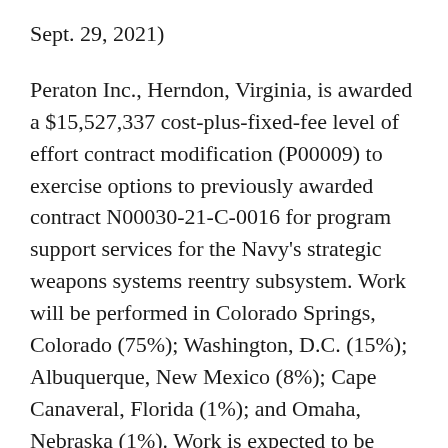Sept. 29, 2021)
Peraton Inc., Herndon, Virginia, is awarded a $15,527,337 cost-plus-fixed-fee level of effort contract modification (P00009) to exercise options to previously awarded contract N00030-21-C-0016 for program support services for the Navy's strategic weapons systems reentry subsystem. Work will be performed in Colorado Springs, Colorado (75%); Washington, D.C. (15%); Albuquerque, New Mexico (8%); Cape Canaveral, Florida (1%); and Omaha, Nebraska (1%). Work is expected to be completed by March 30, 2026. No fiscal year funds will be obligated on this award. No funds